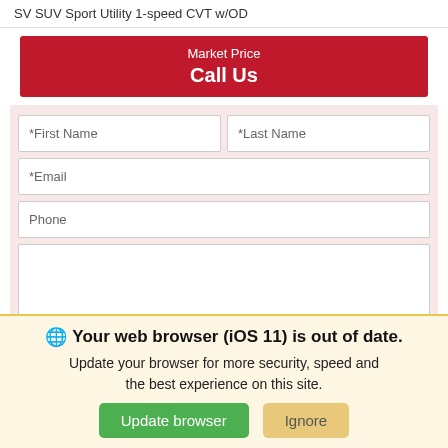SV SUV Sport Utility 1-speed CVT w/OD
Market Price
Call Us
[Figure (screenshot): Contact form with fields: *First Name, *Last Name, *Email, Phone, message textarea, and a green Confirm Availability button]
Your web browser (iOS 11) is out of date. Update your browser for more security, speed and the best experience on this site.
Update browser
Ignore